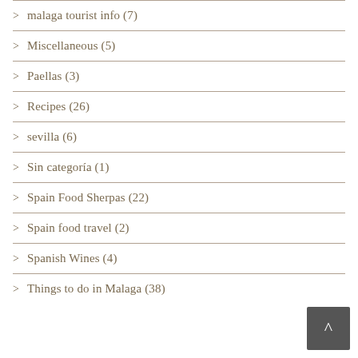malaga tourist info (7)
Miscellaneous (5)
Paellas (3)
Recipes (26)
sevilla (6)
Sin categoría (1)
Spain Food Sherpas (22)
Spain food travel (2)
Spanish Wines (4)
Things to do in Malaga (38)